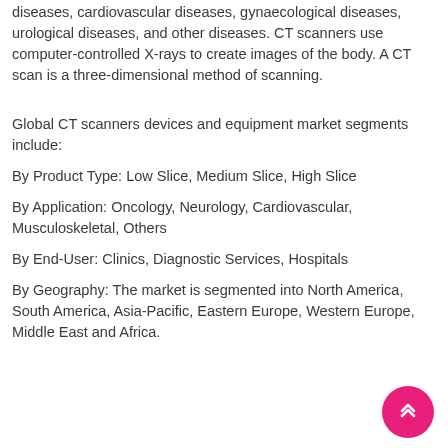diseases, cardiovascular diseases, gynaecological diseases, urological diseases, and other diseases. CT scanners use computer-controlled X-rays to create images of the body. A CT scan is a three-dimensional method of scanning.
Global CT scanners devices and equipment market segments include:
By Product Type: Low Slice, Medium Slice, High Slice
By Application: Oncology, Neurology, Cardiovascular, Musculoskeletal, Others
By End-User: Clinics, Diagnostic Services, Hospitals
By Geography: The market is segmented into North America, South America, Asia-Pacific, Eastern Europe, Western Europe, Middle East and Africa.